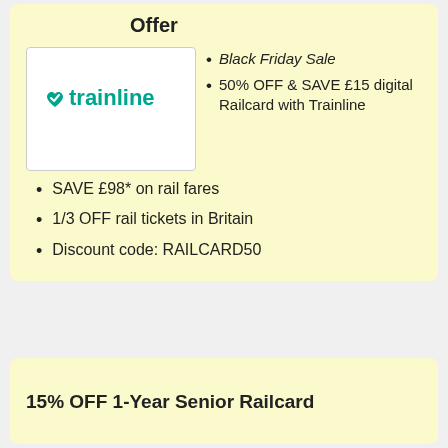Offer
[Figure (logo): Trainline logo with teal heart and 'trainline' wordmark in teal]
Black Friday Sale
50% OFF & SAVE £15 digital Railcard with Trainline
SAVE £98* on rail fares
1/3 OFF rail tickets in Britain
Discount code: RAILCARD50
15% OFF 1-Year Senior Railcard